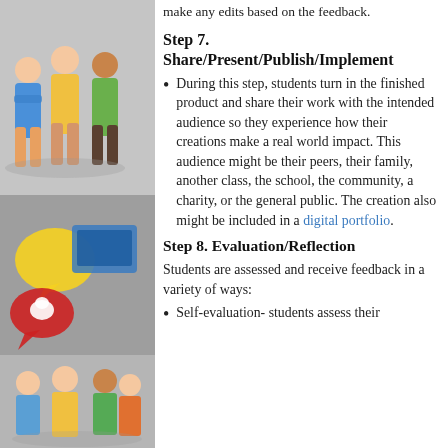[Figure (photo): Two photos of children (top: group of kids, bottom: same group) along the left column, with comic-book style speech bubble icons in the middle section]
make any edits based on the feedback.
Step 7.
Share/Present/Publish/Implement
During this step, students turn in the finished product and share their work with the intended audience so they experience how their creations make a real world impact. This audience might be their peers, their family, another class, the school, the community, a charity, or the general public. The creation also might be included in a digital portfolio.
Step 8. Evaluation/Reflection
Students are assessed and receive feedback in a variety of ways:
Self-evaluation- students assess their